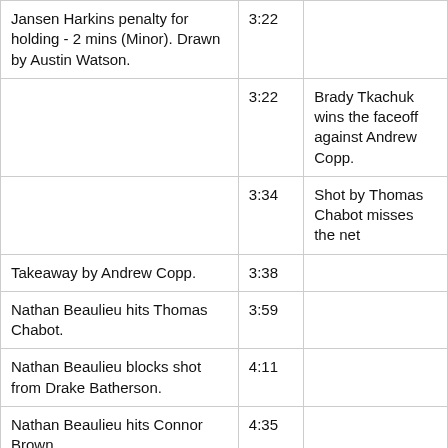| Event | Time | Detail |
| --- | --- | --- |
| Jansen Harkins penalty for holding - 2 mins (Minor). Drawn by Austin Watson. | 3:22 |  |
|  | 3:22 | Brady Tkachuk wins the faceoff against Andrew Copp. |
|  | 3:34 | Shot by Thomas Chabot misses the net |
| Takeaway by Andrew Copp. | 3:38 |  |
| Nathan Beaulieu hits Thomas Chabot. | 3:59 |  |
| Nathan Beaulieu blocks shot from Drake Batherson. | 4:11 |  |
| Nathan Beaulieu hits Connor Brown. | 4:35 |  |
|  | 5:03 | Mike Reilly shoots Saved by Laurent Brossoit. |